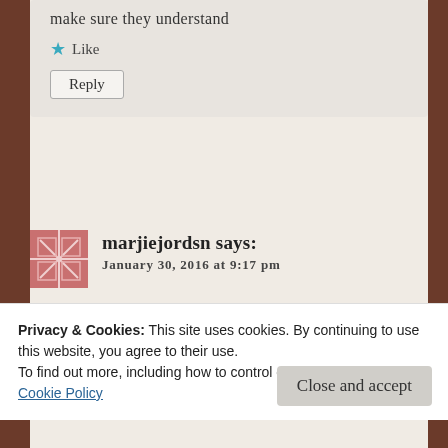make sure they understand
★ Like
Reply
marjiejordsn says:
January 30, 2016 at 9:17 pm
I am in touch with Jaquie Thurlow Lippish who also blogged about the situation . I will speak to her about a
Privacy & Cookies: This site uses cookies. By continuing to use this website, you agree to their use.
To find out more, including how to control cookies, see here:
Cookie Policy
Close and accept